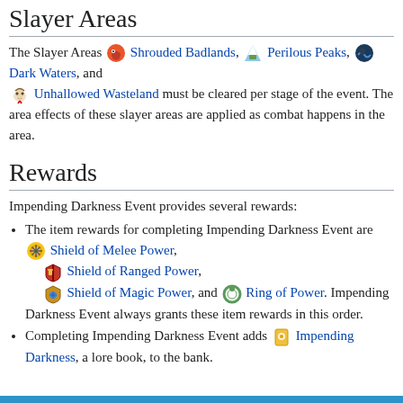Slayer Areas
The Slayer Areas 🌑 Shrouded Badlands, 🏔️ Perilous Peaks, 🌊 Dark Waters, and 💀 Unhallowed Wasteland must be cleared per stage of the event. The area effects of these slayer areas are applied as combat happens in the area.
Rewards
Impending Darkness Event provides several rewards:
The item rewards for completing Impending Darkness Event are 🛡️ Shield of Melee Power, 🛡️ Shield of Ranged Power, 🛡️ Shield of Magic Power, and 💍 Ring of Power. Impending Darkness Event always grants these item rewards in this order.
Completing Impending Darkness Event adds 📖 Impending Darkness, a lore book, to the bank.